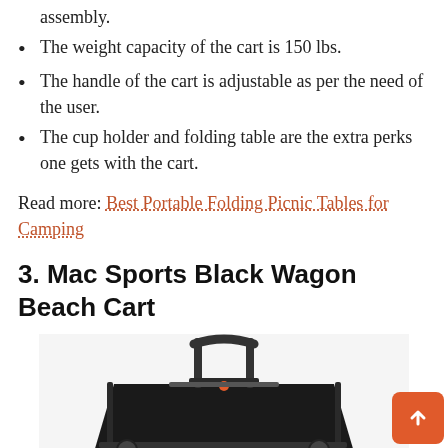assembly.
The weight capacity of the cart is 150 lbs.
The handle of the cart is adjustable as per the need of the user.
The cup holder and folding table are the extra perks one gets with the cart.
Read more: Best Portable Folding Picnic Tables for Camping
3. Mac Sports Black Wagon Beach Cart
[Figure (photo): Photo of Mac Sports Black Wagon Beach Cart showing a black collapsible wagon with a metal handle frame visible from above]